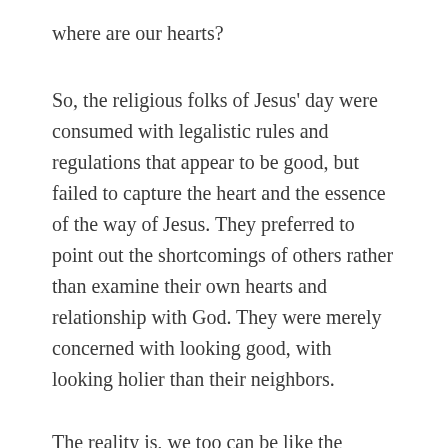where are our hearts?
So, the religious folks of Jesus' day were consumed with legalistic rules and regulations that appear to be good, but failed to capture the heart and the essence of the way of Jesus. They preferred to point out the shortcomings of others rather than examine their own hearts and relationship with God. They were merely concerned with looking good, with looking holier than their neighbors.
The reality is, we too can be like the religious leaders of Jesus' day. We are all too quick to point out the shortcomings of others while glossing over our own hearts and failures. You see, when we point out others shortcomings we, at least for a time, feel better about